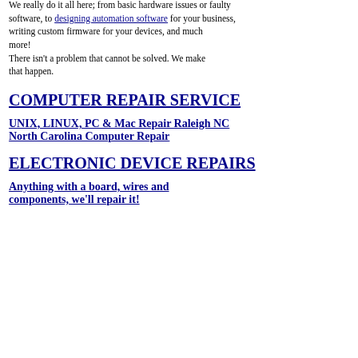understanding of the people we've grown to help, with the tenacity and passion to do things quickly & correct!
We really do it all here; from basic hardware issues or faulty software, to designing automation software for your business, writing custom firmware for your devices, and much more! There isn't a problem that cannot be solved. We make that happen.
COMPUTER REPAIR SERVICE
UNIX, LINUX, PC & Mac Repair Raleigh NC North Carolina Computer Repair
ELECTRONIC DEVICE REPAIRS
Anything with a board, wires and components, we'll repair it!